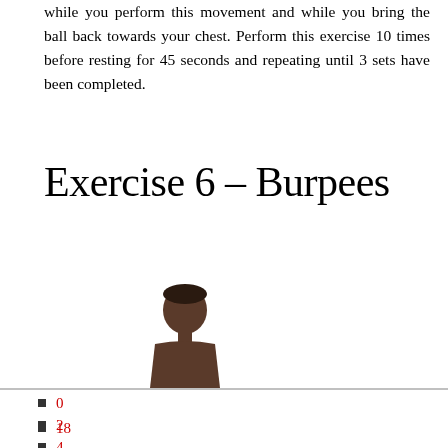while you perform this movement and while you bring the ball back towards your chest. Perform this exercise 10 times before resting for 45 seconds and repeating until 3 sets have been completed.
Exercise 6 – Burpees
[Figure (photo): A person shown from behind/side at the bottom of the image area, partially cropped, with a horizontal line beneath.]
0
2
18
4